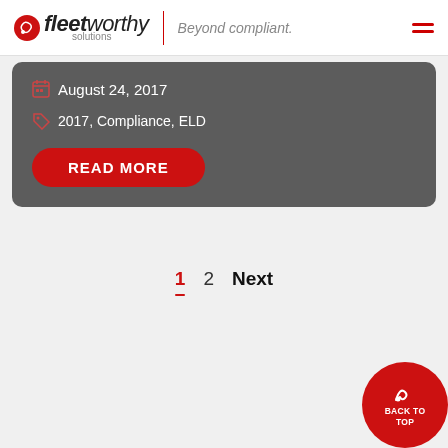Fleetworthy Solutions | Beyond compliant.
August 24, 2017
2017, Compliance, ELD
READ MORE
1  2  Next
BACK TO TOP